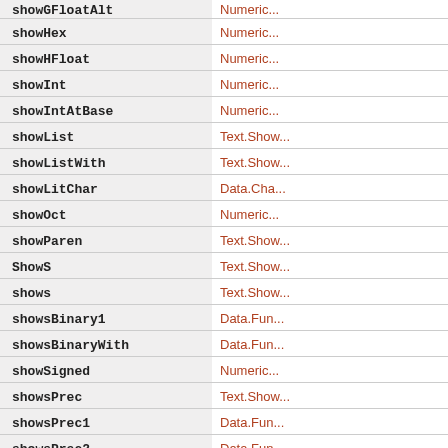| Function | Module |
| --- | --- |
| showGFloatAlt | Numeric... |
| showHex | Numeric... |
| showHFloat | Numeric... |
| showInt | Numeric... |
| showIntAtBase | Numeric... |
| showList | Text.Show... |
| showListWith | Text.Show... |
| showLitChar | Data.Cha... |
| showOct | Numeric... |
| showParen | Text.Show... |
| ShowS | Text.Show... |
| shows | Text.Show... |
| showsBinary1 | Data.Fun... |
| showsBinaryWith | Data.Fun... |
| showSigned | Numeric... |
| showsPrec | Text.Show... |
| showsPrec1 | Data.Fun... |
| showsPrec2 | Data.Fun... |
| showStackFrames | GHC.Exe... |
| showStackTrace | GHC.Exe... |